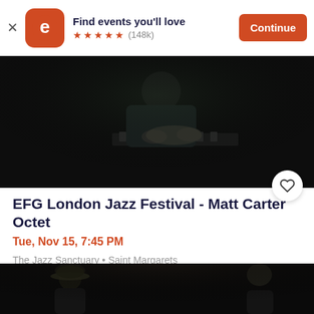[Figure (screenshot): Eventbrite app banner with logo, 'Find events you'll love' text, 5 orange stars, (148k) reviews, and orange Continue button]
[Figure (photo): Dark photo of a jazz pianist performing at a piano, seen from the side, low-key lighting]
EFG London Jazz Festival - Matt Carter Octet
Tue, Nov 15, 7:45 PM
The Jazz Sanctuary • Saint Margarets
£11.37 - £19.99
[Figure (photo): Dark photo of two jazz musicians on stage, one wearing a hat]